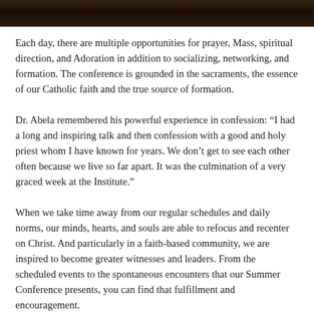[Figure (photo): Dark photograph strip at top of page showing people in a dimly lit setting]
Each day, there are multiple opportunities for prayer, Mass, spiritual direction, and Adoration in addition to socializing, networking, and formation. The conference is grounded in the sacraments, the essence of our Catholic faith and the true source of formation.
Dr. Abela remembered his powerful experience in confession: “I had a long and inspiring talk and then confession with a good and holy priest whom I have known for years. We don’t get to see each other often because we live so far apart. It was the culmination of a very graced week at the Institute.”
When we take time away from our regular schedules and daily norms, our minds, hearts, and souls are able to refocus and recenter on Christ. And particularly in a faith-based community, we are inspired to become greater witnesses and leaders. From the scheduled events to the spontaneous encounters that our Summer Conference presents, you can find that fulfillment and encouragement.